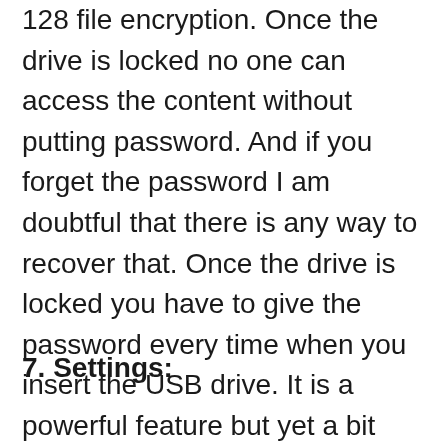128 file encryption. Once the drive is locked no one can access the content without putting password. And if you forget the password I am doubtful that there is any way to recover that. Once the drive is locked you have to give the password every time when you insert the USB drive. It is a powerful feature but yet a bit risky as if you forgot the data you cannot access the internal content. It will not be visible unless you give the password. ADATA do not add option to recover password. So I will recommend you to stay alert while using this.
7. Settings:
[Figure (screenshot): Windows dialog title bar showing ADATA application with blue gradient header and minimize/maximize/close controls]